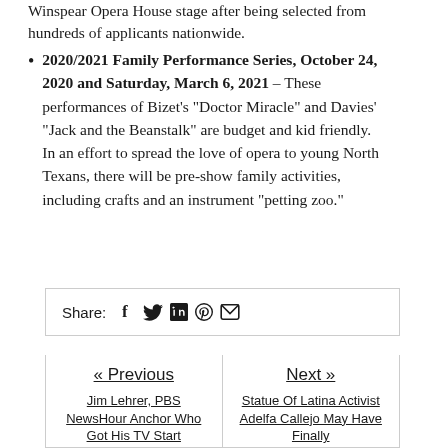Winspear Opera House stage after being selected from hundreds of applicants nationwide.
2020/2021 Family Performance Series, October 24, 2020 and Saturday, March 6, 2021 – These performances of Bizet's “Doctor Miracle” and Davies’ “Jack and the Beanstalk” are budget and kid friendly. In an effort to spread the love of opera to young North Texans, there will be pre-show family activities, including crafts and an instrument “petting zoo.”
Share:
« Previous
Next »
Jim Lehrer, PBS NewsHour Anchor Who Got His TV Start
Statue Of Latina Activist Adelfa Callejo May Have Finally